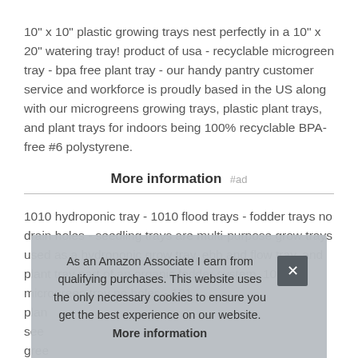10" x 10" plastic growing trays nest perfectly in a 10" x 20" watering tray! product of usa - recyclable microgreen tray - bpa free plant tray - our handy pantry customer service and workforce is proudly based in the US along with our microgreens growing trays, plastic plant trays, and plant trays for indoors being 100% recyclable BPA-free #6 polystyrene.
More information #ad
1010 hydroponic tray - 1010 flood trays - fodder trays no drain holes - seedling trays are multi-purpose grow trays used as a hydroponic grow tray, ebb and flow tray, and plant tray part of an organic fodder system. 1010 microgreen tray no holes - 101[...] plan[...] see[...] gree[...] seed, and spicy salad mix.
As an Amazon Associate I earn from qualifying purchases. This website uses the only necessary cookies to ensure you get the best experience on our website. More information